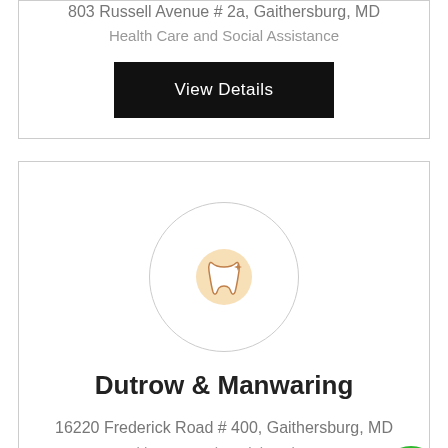803 Russell Avenue # 2a, Gaithersburg, MD
Health Care and Social Assistance
View Details
[Figure (logo): Circular logo with a tooth/dental icon in orange and white on a light background]
Dutrow & Manwaring
16220 Frederick Road # 400, Gaithersburg, MD
Health Care and Social Assistance
Call Now
View Details